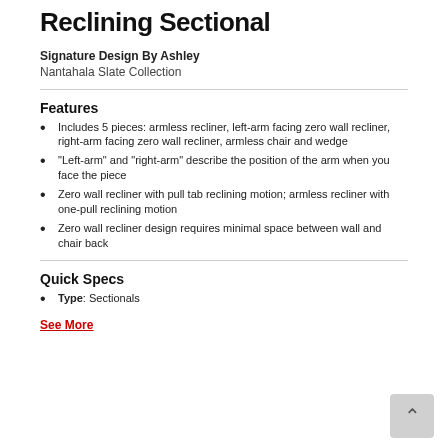Reclining Sectional
Signature Design By Ashley
Nantahala Slate Collection
Features
Includes 5 pieces: armless recliner, left-arm facing zero wall recliner, right-arm facing zero wall recliner, armless chair and wedge
"Left-arm" and "right-arm" describe the position of the arm when you face the piece
Zero wall recliner with pull tab reclining motion; armless recliner with one-pull reclining motion
Zero wall recliner design requires minimal space between wall and chair back
Quick Specs
Type: Sectionals
See More